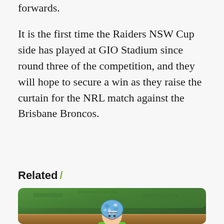forwards.
It is the first time the Raiders NSW Cup side has played at GIO Stadium since round three of the competition, and they will hope to secure a win as they raise the curtain for the NRL match against the Brisbane Broncos.
Related /
[Figure (photo): A smiling young person wearing a blue and white Steeden branded rugby helmet and a bright green jersey, photographed outdoors on a green field.]